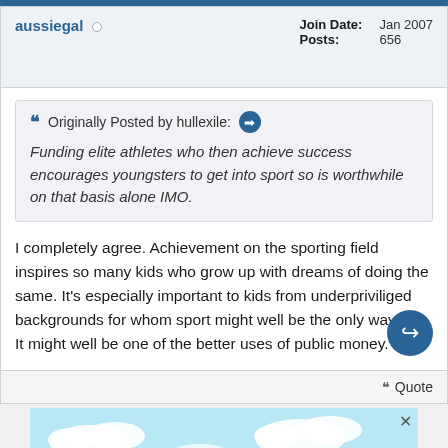aussiegal — Join Date: Jan 2007, Posts: 656
Originally Posted by hullexile: Funding elite athletes who then achieve success encourages youngsters to get into sport so is worthwhile on that basis alone IMO.
I completely agree. Achievement on the sporting field inspires so many kids who grow up with dreams of doing the same. It's especially important to kids from underpriviliged backgrounds for whom sport might well be the only way out. It might well be one of the better uses of public money.
Quote
[Figure (illustration): Advertisement banner with light blue sky, clouds, palm trees, and large bold text reading MAY - AUG]